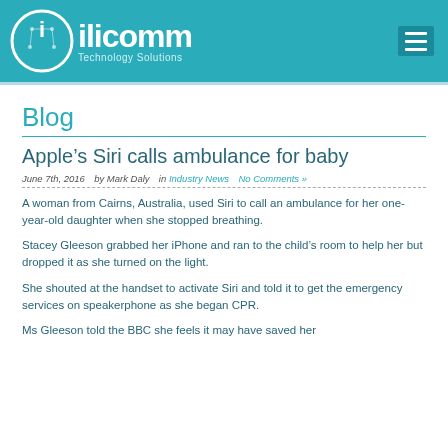[Figure (logo): ilicomm Technology Solutions logo with circular icon on teal header background with hamburger menu icon]
Blog
Apple's Siri calls ambulance for baby
June 7th, 2016   by Mark Daly   in Industry News   No Comments »
A woman from Cairns, Australia, used Siri to call an ambulance for her one-year-old daughter when she stopped breathing.
Stacey Gleeson grabbed her iPhone and ran to the child's room to help her but dropped it as she turned on the light.
She shouted at the handset to activate Siri and told it to get the emergency services on speakerphone as she began CPR.
Ms Gleeson told the BBC she feels it may have saved her